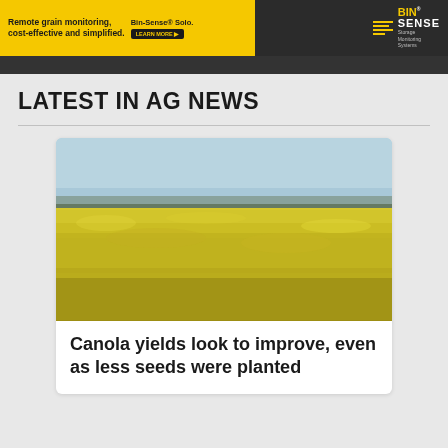[Figure (photo): BIN-SENSE advertisement banner with yellow and dark background. Text reads: Remote grain monitoring, cost-effective and simplified. Bin-Sense Solo. LEARN MORE. BIN SENSE Storage Monitoring Systems logo.]
LATEST IN AG NEWS
[Figure (photo): Photo of a bright yellow canola field in full bloom under a clear light blue sky, with a flat horizon line showing distant trees.]
Canola yields look to improve, even as less seeds were planted